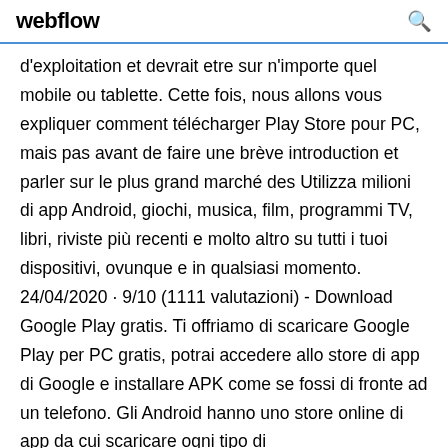webflow
d'exploitation et devrait etre sur n'importe quel mobile ou tablette. Cette fois, nous allons vous expliquer comment télécharger Play Store pour PC, mais pas avant de faire une brève introduction et parler sur le plus grand marché des Utilizza milioni di app Android, giochi, musica, film, programmi TV, libri, riviste più recenti e molto altro su tutti i tuoi dispositivi, ovunque e in qualsiasi momento. 24/04/2020 · 9/10 (1111 valutazioni) - Download Google Play gratis. Ti offriamo di scaricare Google Play per PC gratis, potrai accedere allo store di app di Google e installare APK come se fossi di fronte ad un telefono. Gli Android hanno uno store online di app da cui scaricare ogni tipo di